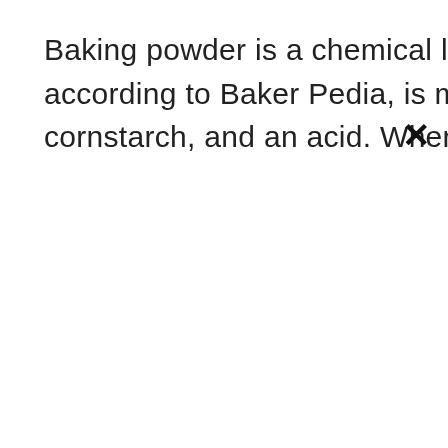Baking powder is a chemical leavening ingredient that, according to Baker Pedia, is made up of sodium bicarbonate, cornstarch, and an acid. When it is adde